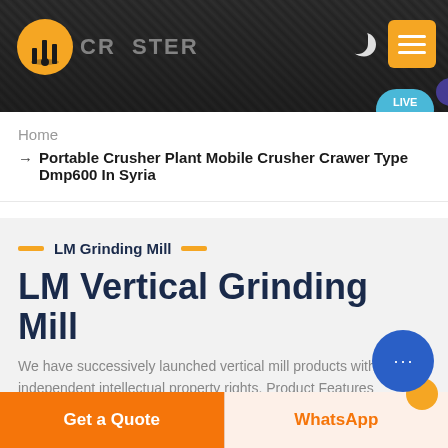[Figure (screenshot): Website header banner with dark industrial background showing crusher machinery, orange logo icon on left, moon icon and orange menu button on top right, LIVE CHAT bubble bottom right]
Home
→ Portable Crusher Plant Mobile Crusher Crawer Type Dmp600 In Syria
LM Grinding Mill
LM Vertical Grinding Mill
We have successively launched vertical mill products with independent intellectual property rights. Product Features